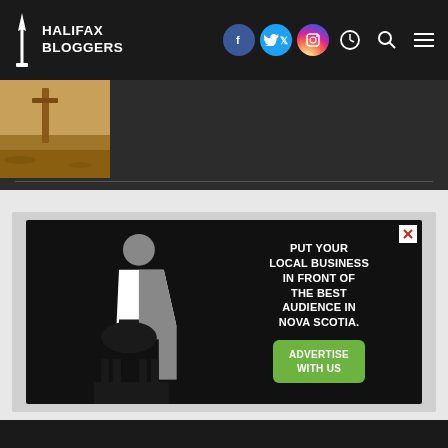HALIFAX BLOGGERS
[Figure (screenshot): Desert scene with wooden post, dark background]
[Figure (infographic): Halifax Bloggers advertisement: pen nib logo with Halifax skyline silhouette, text: PUT YOUR LOCAL BUSINESS IN FRONT OF THE BEST AUDIENCE IN NOVA SCOTIA. Button: ADVERTISE WITH US]
[Figure (photo): Bottom dark strip partial view]